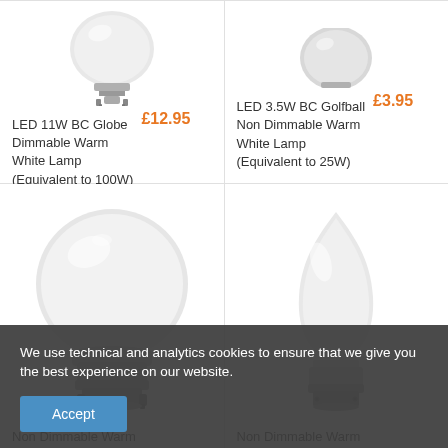[Figure (photo): LED 11W BC Globe lamp product image, top portion with bayonet cap visible]
LED 11W BC Globe Dimmable Warm White Lamp (Equivalent to 100W) £12.95
[Figure (photo): LED 3.5W BC Golfball lamp product image, top view with cap]
LED 3.5W BC Golfball Non Dimmable Warm White Lamp (Equivalent to 25W) £3.95
[Figure (photo): Round globe LED bulb with bayonet cap, full product shot]
Non Dimmable Warm
[Figure (photo): Candle shaped LED bulb with bayonet cap, full product shot]
Non Dimmable Warm
We use technical and analytics cookies to ensure that we give you the best experience on our website.
Accept